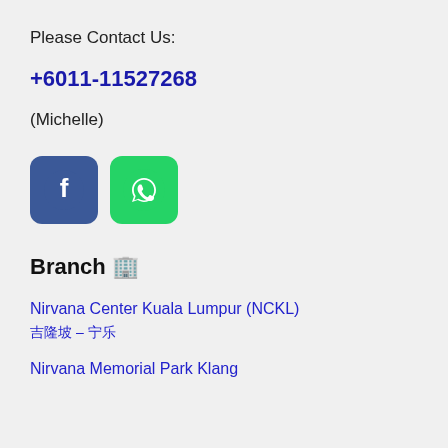Please Contact Us:
+6011-11527268
(Michelle)
[Figure (illustration): Facebook icon button (blue rounded square) and WhatsApp icon button (green rounded square) side by side]
Branch 🏢
Nirvana Center Kuala Lumpur (NCKL)
吉隆坡 – 宁乐
Nirvana Memorial Park Klang